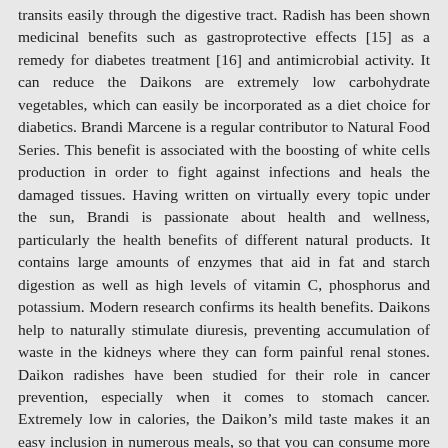transits easily through the digestive tract. Radish has been shown medicinal benefits such as gastroprotective effects [15] as a remedy for diabetes treatment [16] and antimicrobial activity. It can reduce the Daikons are extremely low carbohydrate vegetables, which can easily be incorporated as a diet choice for diabetics. Brandi Marcene is a regular contributor to Natural Food Series. This benefit is associated with the boosting of white cells production in order to fight against infections and heals the damaged tissues. Having written on virtually every topic under the sun, Brandi is passionate about health and wellness, particularly the health benefits of different natural products. It contains large amounts of enzymes that aid in fat and starch digestion as well as high levels of vitamin C, phosphorus and potassium. Modern research confirms its health benefits. Daikons help to naturally stimulate diuresis, preventing accumulation of waste in the kidneys where they can form painful renal stones. Daikon radishes have been studied for their role in cancer prevention, especially when it comes to stomach cancer. Extremely low in calories, the Daikonâs mild taste makes it an easy inclusion in numerous meals, so that you can consume more without much of a hassle. Daikon can help you reduce the risk of cancer. This is key in achieving diabetes control and not result in diabetic complications occurring, while there is some evidence that radish sprouts may help